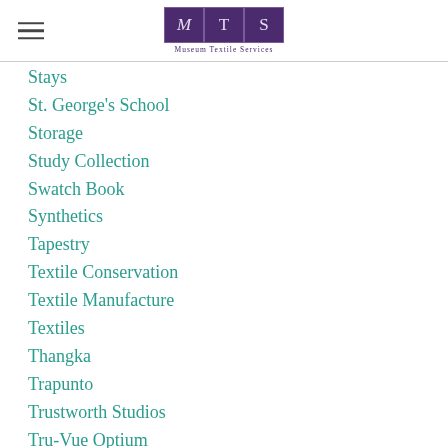Museum Textile Services
Stays
St. George's School
Storage
Study Collection
Swatch Book
Synthetics
Tapestry
Textile Conservation
Textile Manufacture
Textiles
Thangka
Trapunto
Trustworth Studios
Tru-Vue Optium
Tsushima
Uniform
Uniforms
Union Railroad Station